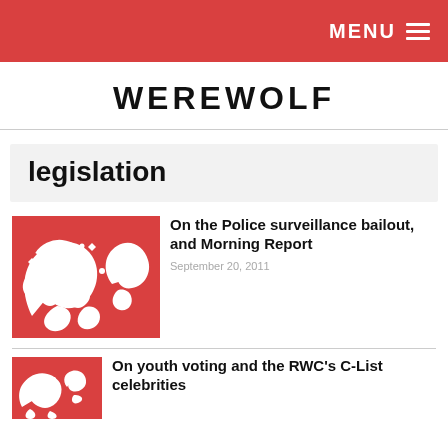MENU ☰
WEREWOLF
legislation
[Figure (illustration): Red and white Maori-style decorative swirl pattern used as article thumbnail]
On the Police surveillance bailout, and Morning Report
September 20, 2011
[Figure (illustration): Red and white Maori-style decorative swirl pattern used as article thumbnail (partial, second article)]
On youth voting and the RWC's C-List celebrities